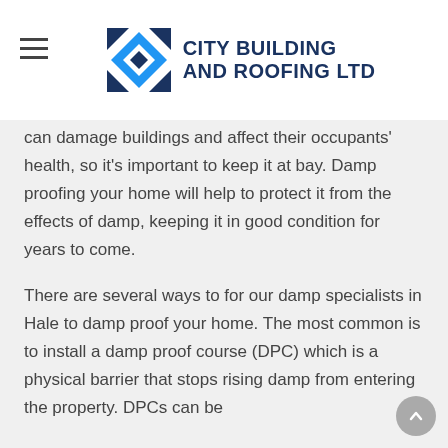CITY BUILDING AND ROOFING LTD
can damage buildings and affect their occupants' health, so it's important to keep it at bay. Damp proofing your home will help to protect it from the effects of damp, keeping it in good condition for years to come.
There are several ways to for our damp specialists in Hale to damp proof your home. The most common is to install a damp proof course (DPC) which is a physical barrier that stops rising damp from entering the property. DPCs can be